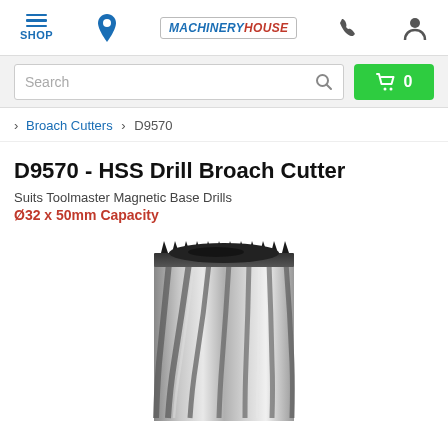[Figure (screenshot): Machinery House website navigation bar with hamburger menu icon, location pin icon, Machinery House logo, phone icon, and user account icon]
[Figure (screenshot): Search bar input field with magnifying glass icon and green cart button showing 0 items]
> Broach Cutters > D9570
D9570 - HSS Drill Broach Cutter
Suits Toolmaster Magnetic Base Drills
Ø32 x 50mm Capacity
[Figure (photo): HSS Drill Broach Cutter cylindrical metal cutting tool with spiral flutes and serrated top edge, silver metallic finish]